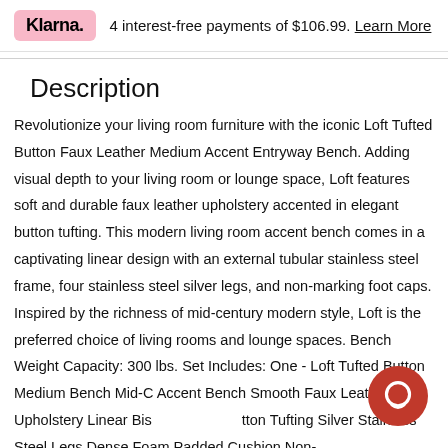Klarna. 4 interest-free payments of $106.99. Learn More
Description
Revolutionize your living room furniture with the iconic Loft Tufted Button Faux Leather Medium Accent Entryway Bench. Adding visual depth to your living room or lounge space, Loft features soft and durable faux leather upholstery accented in elegant button tufting. This modern living room accent bench comes in a captivating linear design with an external tubular stainless steel frame, four stainless steel silver legs, and non-marking foot caps. Inspired by the richness of mid-century modern style, Loft is the preferred choice of living rooms and lounge spaces. Bench Weight Capacity: 300 lbs. Set Includes: One - Loft Tufted Button Medium Bench Mid-C Accent Bench Smooth Faux Leather Upholstery Linear Bis ton Tufting Silver Stainless Steel Legs Dense Foam Padded Cushion Non-